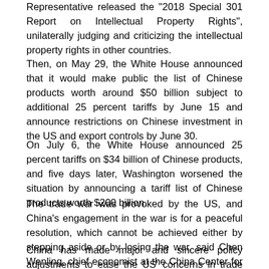Representative released the "2018 Special 301 Report on Intellectual Property Rights", unilaterally judging and criticizing the intellectual property rights in other countries.
Then, on May 29, the White House announced that it would make public the list of Chinese products worth around $50 billion subject to additional 25 percent tariffs by June 15 and announce restrictions on Chinese investment in the US and export controls by June 30.
On July 6, the White House announced 25 percent tariffs on $34 billion of Chinese products, and five days later, Washington worsened the situation by announcing a tariff list of Chinese products worth $200 billion.
The trade war was provoked by the US, and China's engagement in the war is for a peaceful resolution, which cannot be achieved either by stepping aside or by losing the war, said Chen Wenling, chief economist at the China Center for International Economic Exchanges.
China has made major and sincere policy adjustments to ease the US' concerns in trade deficit, and market access,